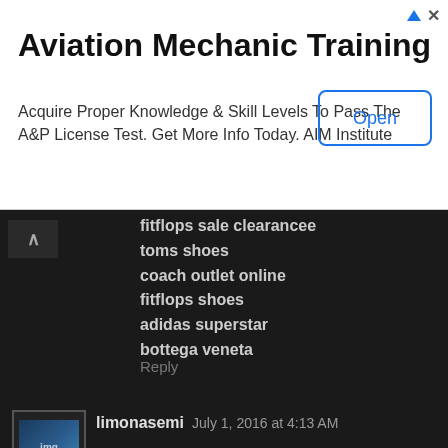[Figure (infographic): Advertisement banner for Aviation Mechanic Training with an Open button]
Aviation Mechanic Training
Acquire Proper Knowledge & Skill Levels To Pass The A&P License Test. Get More Info Today. AIM Institute
fitflops sale clearancee
toms shoes
coach outlet online
fitflops shoes
adidas superstar
bottega veneta
Reply
limonasemi  July 1, 2016 at 4:13 AM
I am thankful to you because your article is very helpful for me to carry on with my research in same area. Your quoted examples are very much relevant to my research field.
http://shop4pills.us/crestor_generic.html
Reply